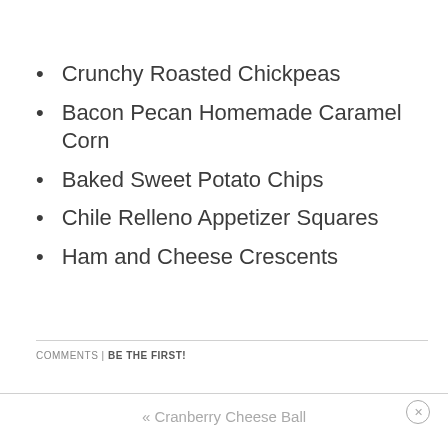Crunchy Roasted Chickpeas
Bacon Pecan Homemade Caramel Corn
Baked Sweet Potato Chips
Chile Relleno Appetizer Squares
Ham and Cheese Crescents
COMMENTS | BE THE FIRST!
« Cranberry Cheese Ball